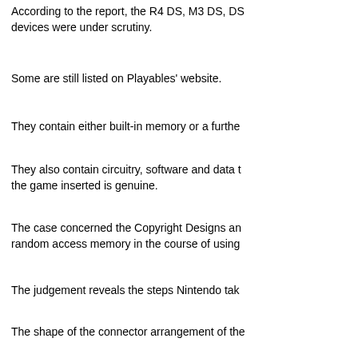According to the report, the R4 DS, M3 DS, DS devices were under scrutiny.
Some are still listed on Playables' website.
They contain either built-in memory or a furthe
They also contain circuitry, software and data t the game inserted is genuine.
The case concerned the Copyright Designs an random access memory in the course of using
The judgement reveals the steps Nintendo tak
The shape of the connector arrangement of the fit into it; the boot up software permanently sto of the Nintendo Logo Data File (NLDF) and pre detected; and the use of shared key encryption are authentic.
Are all "effective technological measures" take
The judge found in favour of Nintendo because
So, what does this mean?
It means that it is now illegal to manufacture, i